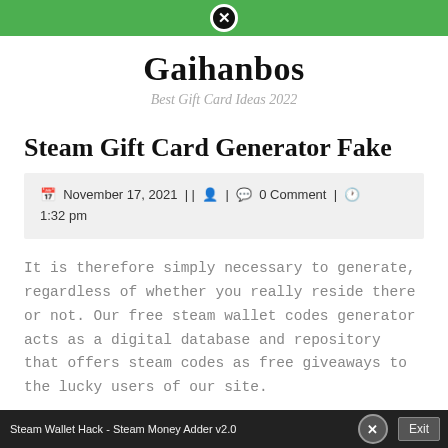Gaihanbos navigation bar with close button
Gaihanbos
Best Gift Card Ideas 2022
Steam Gift Card Generator Fake
November 17, 2021 | | ▤ | 💬 0 Comment | ⏰ 1:32 pm
It is therefore simply necessary to generate, regardless of whether you really reside there or not. Our free steam wallet codes generator acts as a digital database and repository that offers steam codes as free giveaways to the lucky users of our site.
Steam Wallet Hack - Steam Money Adder v2.0  [X]  Exit